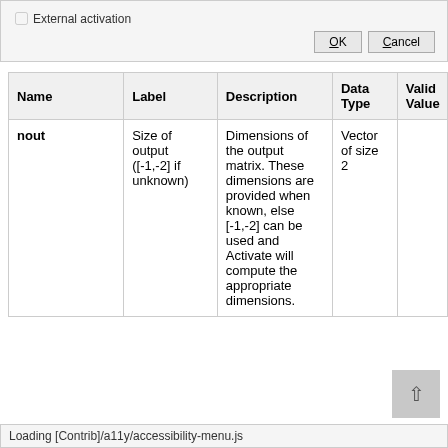[Figure (screenshot): Top portion of a dialog box showing a checkbox labeled 'External activation' and OK/Cancel buttons]
| Name | Label | Description | Data Type | Valid Value |
| --- | --- | --- | --- | --- |
| nout | Size of output ([-1,-2] if unknown) | Dimensions of the output matrix. These dimensions are provided when known, else [-1,-2] can be used and Activate will compute the appropriate dimensions. | Vector of size 2 |  |
Loading [Contrib]/a11y/accessibility-menu.js